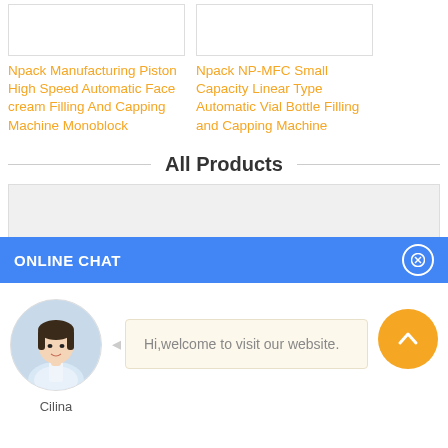Npack Manufacturing Piston High Speed Automatic Face cream Filling And Capping Machine Monoblock
Npack NP-MFC Small Capacity Linear Type Automatic Vial Bottle Filling and Capping Machine
All Products
ONLINE CHAT
Hi,welcome to visit our website.
Cilina